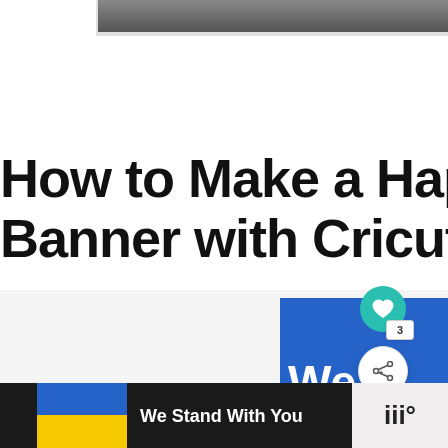[Figure (photo): Partial screenshot of a webpage showing a cropped photo at the top, a large article title 'How to Make a Happy Banner with Cricut', a blue card with text 'We S...' and social interaction buttons (heart, share), and a bottom advertisement bar with Ukrainian flag colors and text 'We Stand With You']
How to Make a Hap Banner with Cricut
[Figure (screenshot): Blue card partially visible with text 'We S' in white, overlaid with a teal heart button, white share button with count badge showing 3]
We Stand With You